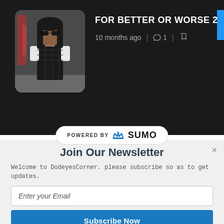FOR BETTER OR WORSE 2
10 months ago  🗨 1  🔖
[Figure (photo): Woman posing outdoors, near a railing, wearing a black and white outfit with sunglasses, with a reddish structure in the background.]
[Figure (logo): POWERED BY SUMO badge/logo]
Join Our Newsletter
Welcome to DodeyesCorner. please subscribe so as to get updates.
Enter your Email
Subscribe Now